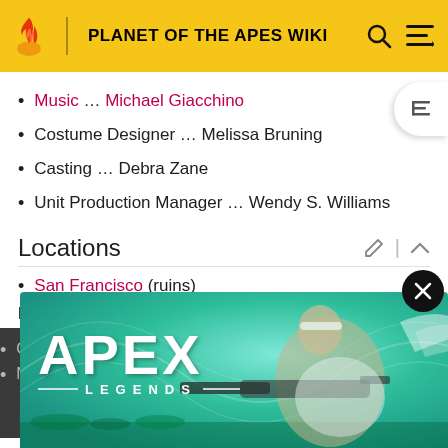PLANET OF THE APES WIKI
Music … Michael Giacchino
Costume Designer … Melissa Bruning
Casting … Debra Zane
Unit Production Manager … Wendy S. Williams
Locations
San Francisco (ruins)
Filming Locations
Campbell River, North Vancouver Island
Ne…
[Figure (advertisement): Apex Legends advertisement banner showing a character with a sniper rifle on a teal/green background]
Film…